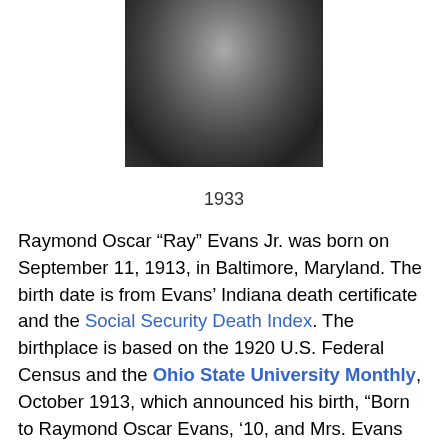[Figure (photo): Black and white photograph of a man in a suit, cropped to show torso and partial head, circa 1933]
1933
Raymond Oscar “Ray” Evans Jr. was born on September 11, 1913, in Baltimore, Maryland. The birth date is from Evans’ Indiana death certificate and the Social Security Death Index. The birthplace is based on the 1920 U.S. Federal Census and the Ohio State University Monthly, October 1913, which announced his birth, “Born to Raymond Oscar Evans, ‘10, and Mrs. Evans (Helen Holter, Ex-‘13), a son, Raymond Oscar Evans Jr. Mr. Evans is cartoonist of the Baltimore American Maryland.”
In the 1920 census, Evans’ birth...